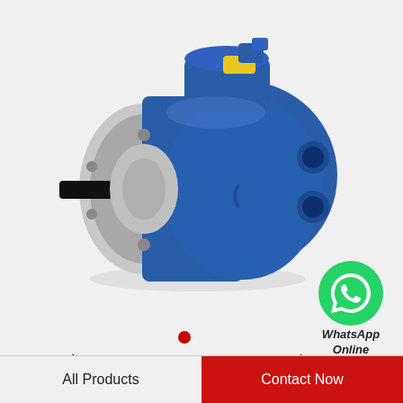[Figure (photo): Rexroth A15VSO 280 DRS 0A0V axial piston hydraulic pump in blue, shown at an angle with a black spline shaft on the left and yellow-accented fittings on top.]
[Figure (logo): WhatsApp green circle icon with white phone handset, labeled WhatsApp Online below.]
WhatsApp Online
Rexroth A15VSO 280 DRS 0A0V/
All Products
Contact Now